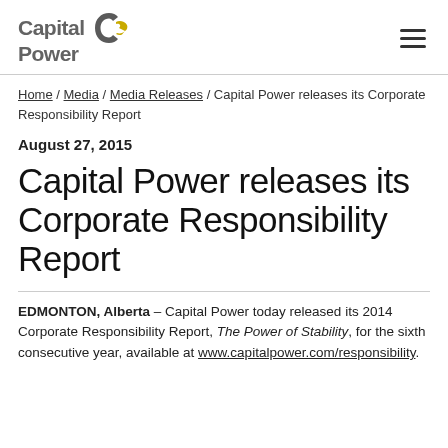[Figure (logo): Capital Power logo with stylized C arrow icon in dark grey and yellow/gold]
Home / Media / Media Releases / Capital Power releases its Corporate Responsibility Report
August 27, 2015
Capital Power releases its Corporate Responsibility Report
EDMONTON, Alberta – Capital Power today released its 2014 Corporate Responsibility Report, The Power of Stability, for the sixth consecutive year, available at www.capitalpower.com/responsibility.